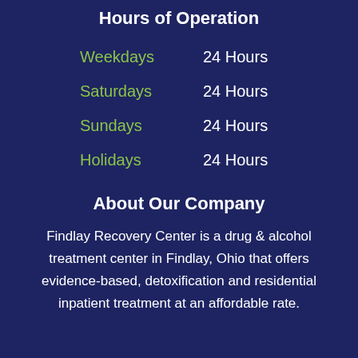Hours of Operation
| Day | Hours |
| --- | --- |
| Weekdays | 24 Hours |
| Saturdays | 24 Hours |
| Sundays | 24 Hours |
| Holidays | 24 Hours |
About Our Company
Findlay Recovery Center is a drug & alcohol treatment center in Findlay, Ohio that offers evidence-based, detoxification and residential inpatient treatment at an affordable rate.